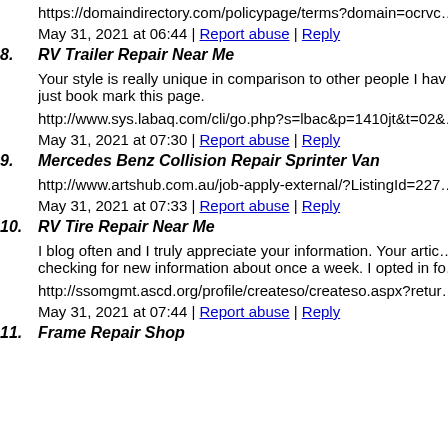https://domaindirectory.com/policypage/terms?domain=ocrvc...
May 31, 2021 at 06:44 | Report abuse | Reply
8. RV Trailer Repair Near Me
Your style is really unique in comparison to other people I have read stuff from. I might just book mark this page.
http://www.sys.labaq.com/cli/go.php?s=lbac&p=1410jt&t=02&...
May 31, 2021 at 07:30 | Report abuse | Reply
9. Mercedes Benz Collision Repair Sprinter Van
http://www.artshub.com.au/job-apply-external/?ListingId=227...
May 31, 2021 at 07:33 | Report abuse | Reply
10. RV Tire Repair Near Me
I blog often and I truly appreciate your information. Your article has really peaked my interest. I am going to bookmark your site and keep checking for new information about once a week. I opted in for your Feed as well.
http://ssomgmt.ascd.org/profile/createso/createso.aspx?return...
May 31, 2021 at 07:44 | Report abuse | Reply
11. Frame Repair Shop